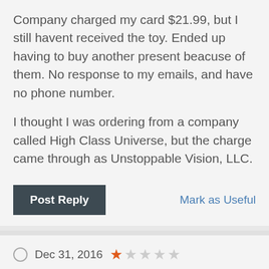Company charged my card $21.99, but I still havent received the toy. Ended up having to buy another present beacuse of them. No response to my emails, and have no phone number.
I thought I was ordering from a company called High Class Universe, but the charge came through as Unstoppable Vision, LLC.
Post Reply
Mark as Useful
Dec 31, 2016
Ordered the World's cutest doggy bank @